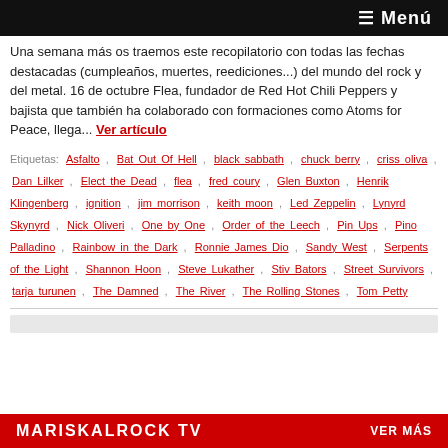≡ Menú
Una semana más os traemos este recopilatorio con todas las fechas destacadas (cumpleaños, muertes, reediciones...) del mundo del rock y del metal. 16 de octubre Flea, fundador de Red Hot Chili Peppers y bajista que también ha colaborado con formaciones como Atoms for Peace, llega... Ver artículo
Etiquetas: Asfalto , Bat Out Of Hell , black sabbath , chuck berry , criss oliva , Dan Lilker , Elect the Dead , flea , fred coury , Glen Buxton , Henrik Klingenberg , ignition , jim morrison , keith moon , Led Zeppelin , Lynyrd Skynyrd , Nick Oliveri , One by One , Order of the Leech , Pin Ups , Pino Palladino , Rainbow in the Dark , Ronnie James Dio , Sandy West , Serpents of the Light , Shannon Hoon , Steve Lukather , Stiv Bators , Street Survivors , tarja turunen , The Damned , The River , The Rolling Stones , Tom Petty
MARISKALROCK TV   VER MÁS